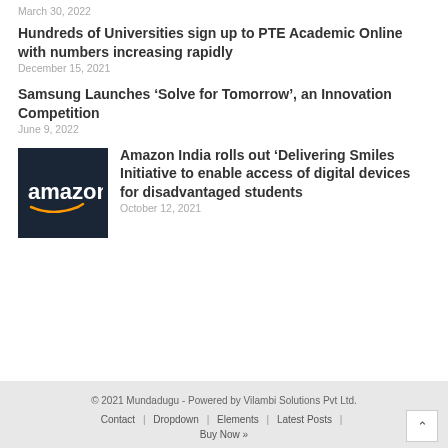March 30, 2022
Hundreds of Universities sign up to PTE Academic Online with numbers increasing rapidly
December 15, 2021
Samsung Launches ‘Solve for Tomorrow’, an Innovation Competition
June 9, 2022
[Figure (logo): Amazon logo on dark navy background]
Amazon India rolls out ‘Delivering Smiles Initiative to enable access of digital devices for disadvantaged students
October 12, 2021
© 2021 Mundadugu - Powered by Vilambi Solutions Pvt Ltd.
Contact | Dropdown | Elements | Latest Posts | Buy Now »